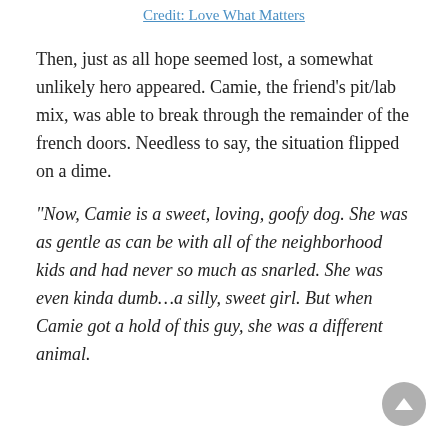Credit: Love What Matters
Then, just as all hope seemed lost, a somewhat unlikely hero appeared. Camie, the friend’s pit/lab mix, was able to break through the remainder of the french doors. Needless to say, the situation flipped on a dime.
“Now, Camie is a sweet, loving, goofy dog. She was as gentle as can be with all of the neighborhood kids and had never so much as snarled. She was even kinda dumb…a silly, sweet girl. But when Camie got a hold of this guy, she was a different animal.